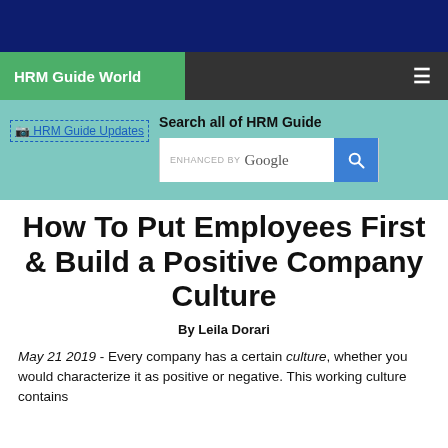HRM Guide World
[Figure (screenshot): HRM Guide Updates link with dashed border]
Search all of HRM Guide
How To Put Employees First & Build a Positive Company Culture
By Leila Dorari
May 21 2019 - Every company has a certain culture, whether you would characterize it as positive or negative. This working culture contains